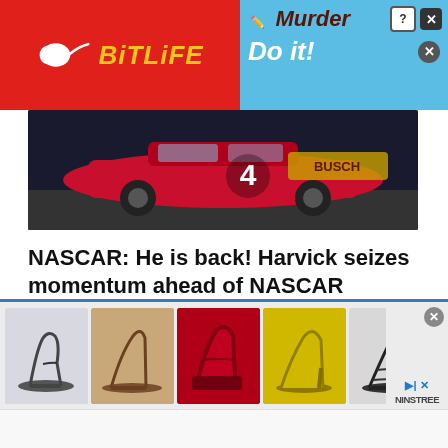[Figure (screenshot): BitLife app advertisement banner with red background and yellow logo on left, blue section with 'Murder Do it!' text on right]
[Figure (photo): NASCAR race car number 4 with Busch Light Apple livery in red, on a race track]
NASCAR: He is back! Harvick seizes momentum ahead of NASCAR playoffs
Sports Talk Florida – August 16, 2022
CHARLOTTE, N.C. (AP) — Well hello, Happy. Welcome to NASCAR's championship race. Just when it seemed time to write off Kevin Harvick, at least for...
[Figure (screenshot): Bottom advertisement strip showing five photos of women's high heel shoes, with Ninstree logo and close/navigation buttons]